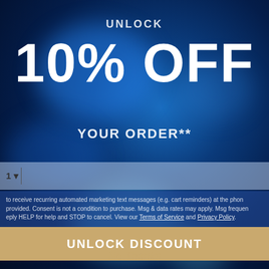UNLOCK
10% OFF
YOUR ORDER**
1 |
to receive recurring automated marketing text messages (e.g. cart reminders) at the phone provided. Consent is not a condition to purchase. Msg & data rates may apply. Msg frequency Reply HELP for help and STOP to cancel. View our Terms of Service and Privacy Policy.
UNLOCK DISCOUNT
No Thanks